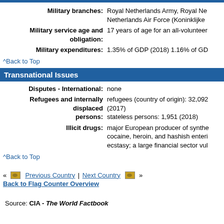Military branches: Royal Netherlands Army, Royal Netherlands Air Force (Koninklijke
Military service age and obligation: 17 years of age for an all-volunteer
Military expenditures: 1.35% of GDP (2018) 1.16% of GDP
^Back to Top
Transnational Issues
Disputes - International: none
Refugees and internally displaced persons: refugees (country of origin): 32,092 (2017) stateless persons: 1,951 (2018)
Illicit drugs: major European producer of synthetics, cocaine, heroin, and hashish entering ecstasy; a large financial sector vul
^Back to Top
« Previous Country | Next Country » Back to Flag Counter Overview
Source: CIA - The World Factbook